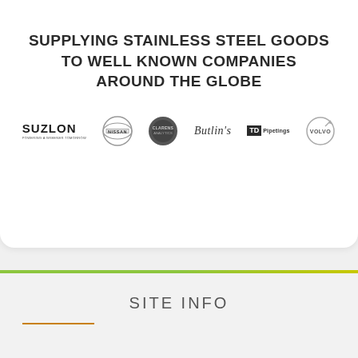SUPPLYING STAINLESS STEEL GOODS TO WELL KNOWN COMPANIES AROUND THE GLOBE
[Figure (logo): Row of company logos: Suzlon, Nissan, Clarins, Butlin's, TD Pipetings, Volvo]
SITE INFO